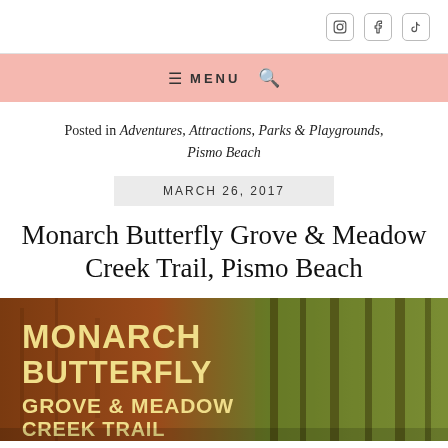[Social icons: Instagram, Facebook, TikTok]
≡ MENU 🔍
Posted in Adventures, Attractions, Parks & Playgrounds, Pismo Beach
MARCH 26, 2017
Monarch Butterfly Grove & Meadow Creek Trail, Pismo Beach
[Figure (photo): Sign reading MONARCH BUTTERFLY GROVE & MEADOW CREEK TRAIL against a forest background with warm brown and green tones]